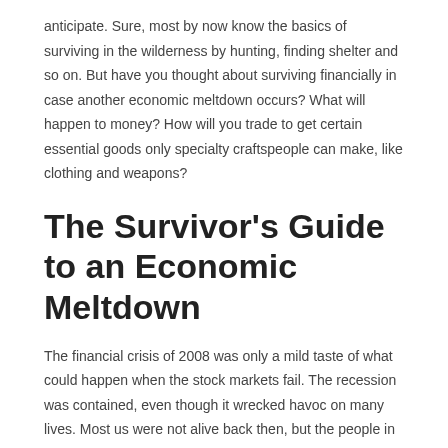anticipate. Sure, most by now know the basics of surviving in the wilderness by hunting, finding shelter and so on. But have you thought about surviving financially in case another economic meltdown occurs? What will happen to money? How will you trade to get certain essential goods only specialty craftspeople can make, like clothing and weapons?
The Survivor's Guide to an Economic Meltdown
The financial crisis of 2008 was only a mild taste of what could happen when the stock markets fail. The recession was contained, even though it wrecked havoc on many lives. Most us were not alive back then, but the people in the 1930s experienced a real economic calamity. Pretty much everyone was laid off, millionaires were committing suicide and scores of people in the cities literally starved.